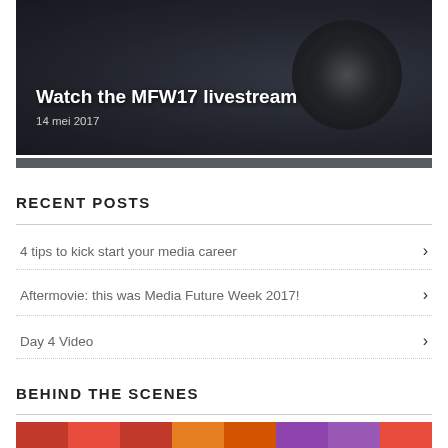[Figure (photo): Dark hero image with camera equipment visible in background, overlaid with white title text 'Watch the MFW17 livestream' and date '14 mei 2017']
Watch the MFW17 livestream
14 mei 2017
RECENT POSTS
4 tips to kick start your media career
Aftermovie: this was Media Future Week 2017!
Day 4 Video
BEHIND THE SCENES
[Figure (photo): Colorful strip of behind-the-scenes photos at the bottom of the page]